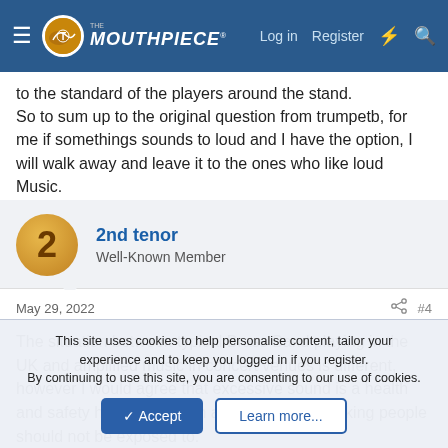The Mouthpiece — Log in  Register
to the standard of the players around the stand.
So to sum up to the original question from trumpetb, for me if somethings sounds to loud and I have the option, I will walk away and leave it to the ones who like loud Music.
2nd tenor
Well-Known Member
May 29, 2022  #4
The situation between typical Brass Band playing in the UK and amplified music in concert venues is different, however I would agree that excessive sound is a health and safety hazard to which audiences and working people should not be exposed to.
This site uses cookies to help personalise content, tailor your experience and to keep you logged in if you register.
By continuing to use this site, you are consenting to our use of cookies.
Accept  Learn more...